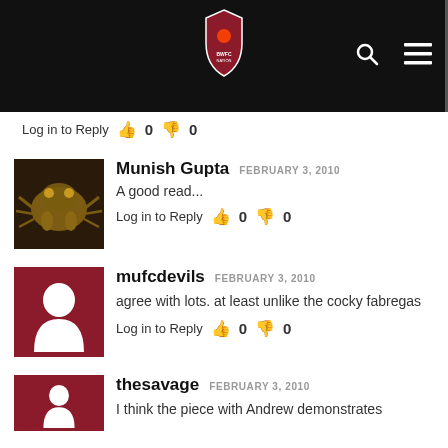Bad News (logo header with search and menu icons)
Log in to Reply  👍 0  👎 0
Munish Gupta  FEBRUARY 3, 2010
A good read...
Log in to Reply  👍 0  👎 0
mufcdevils  FEBRUARY 3, 2010
agree with lots. at least unlike the cocky fabregas
Log in to Reply  👍 0  👎 0
thesavage  FEBRUARY 3, 2010
I think the piece with Andrew demonstrates